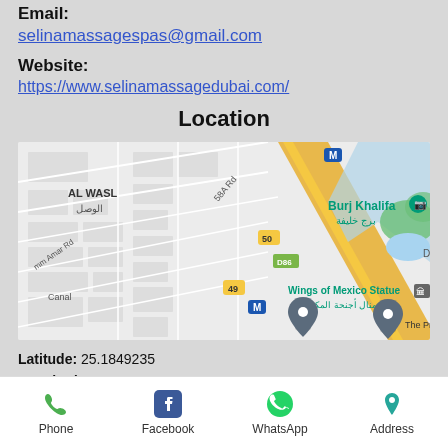Email:
selinamassagespas@gmail.com
Website:
https://www.selinamassagedubai.com/
Location
[Figure (map): Google Maps view showing AL WASL area in Dubai, with Burj Khalifa label, Wings of Mexico Statue, road labels including 58A Rd, D86, routes 50 and 49, metro (M) icons, canal area, and two map pins visible.]
Latitude: 25.1849235
Longitude: 55.2769027
Phone   Facebook   WhatsApp   Address